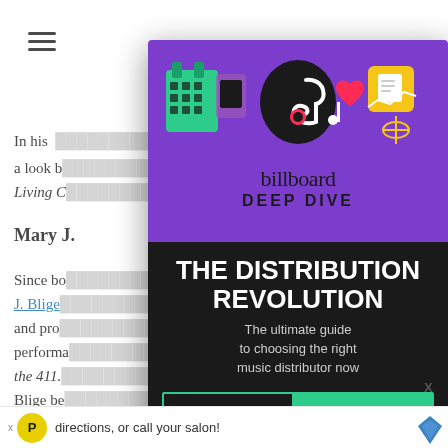In his ... a look b... Living C...
Mary J.
Since bo... Mary J. Blige ... Soul and pro... performa... What's the 411... stage, Blige be... soul-
[Figure (infographic): Billboard Deep Dive advertisement modal overlay. Purple top section with colorful TikTok/social media themed illustration icons. Black bottom section with white bold text 'THE DISTRIBUTION REVOLUTION', subtitle 'The ultimate guide to choosing the right music distributor now', and two buttons: 'FREE DOWNLOAD' and 'GET THE REPORT' on green background.]
directions, or call your salon!